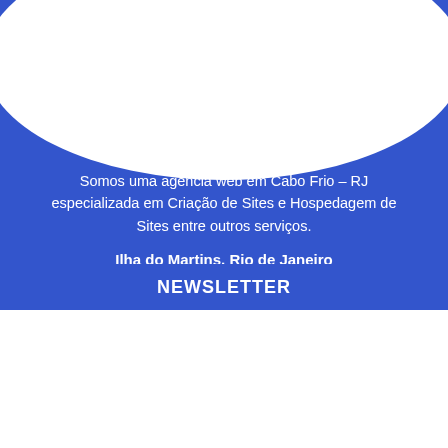[Figure (illustration): Blue background section with white oval shape at top and decorative wave, containing text about web agency]
Somos uma agência web em Cabo Frio – RJ especializada em Criação de Sites e Hospedagem de Sites entre outros serviços.
Ilha do Martins, Rio de Janeiro
NEWSLETTER
Este website utiliza cookies para melhorar a experiê utilizador.
o Todos
Saiba mais